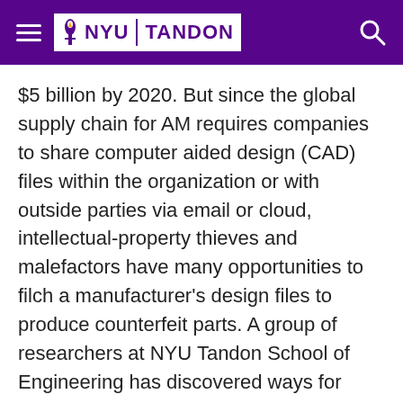NYU TANDON
$5 billion by 2020. But since the global supply chain for AM requires companies to share computer aided design (CAD) files within the organization or with outside parties via email or cloud, intellectual-property thieves and malefactors have many opportunities to filch a manufacturer's design files to produce counterfeit parts. A group of researchers at NYU Tandon School of Engineering has discovered ways for manufacturers to turn the tables on thieves by deliberately embedding hidden flaws in CAD files to thwart intellectual